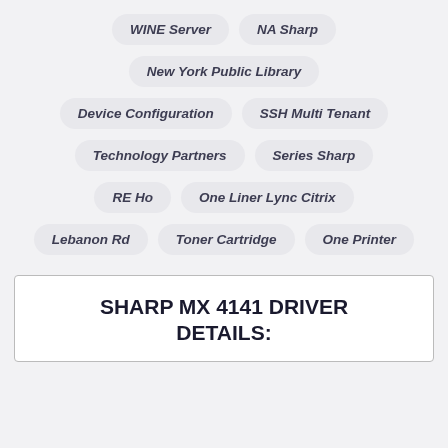WINE Server
NA Sharp
New York Public Library
Device Configuration
SSH Multi Tenant
Technology Partners
Series Sharp
RE Ho
One Liner Lync Citrix
Lebanon Rd
Toner Cartridge
One Printer
SHARP MX 4141 DRIVER DETAILS: